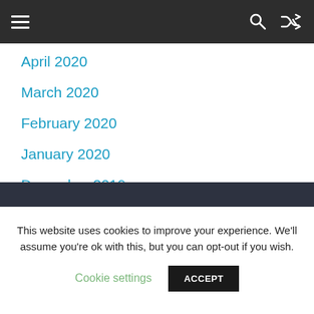Navigation bar with menu, search, and shuffle icons
April 2020
March 2020
February 2020
January 2020
December 2019
November 2019
October 2019
This website uses cookies to improve your experience. We'll assume you're ok with this, but you can opt-out if you wish. Cookie settings  ACCEPT